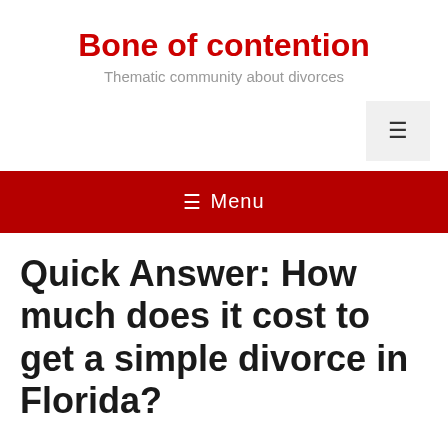Bone of contention
Thematic community about divorces
Quick Answer: How much does it cost to get a simple divorce in Florida?